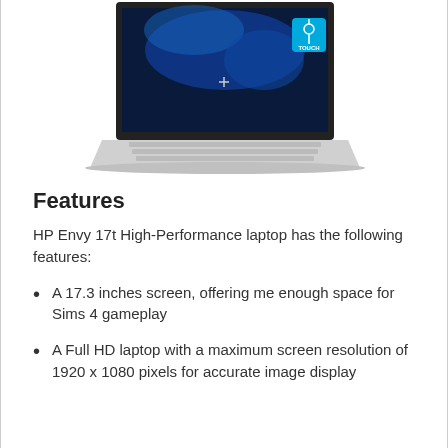[Figure (photo): HP Envy 17t laptop with a silver body, open lid showing a blue abstract wallpaper on screen, with a blue TOUCH badge in the top right corner of the screen.]
Features
HP Envy 17t High-Performance laptop has the following features:
A 17.3 inches screen, offering me enough space for Sims 4 gameplay
A Full HD laptop with a maximum screen resolution of 1920 x 1080 pixels for accurate image display